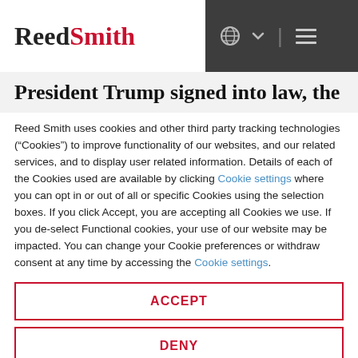Reed Smith
President Trump signed into law, the
Reed Smith uses cookies and other third party tracking technologies (“Cookies”) to improve functionality of our websites, and our related services, and to display user related information. Details of each of the Cookies used are available by clicking Cookie settings where you can opt in or out of all or specific Cookies using the selection boxes. If you click Accept, you are accepting all Cookies we use. If you de-select Functional cookies, your use of our website may be impacted. You can change your Cookie preferences or withdraw consent at any time by accessing the Cookie settings.
ACCEPT
DENY
Powered by usercentrics